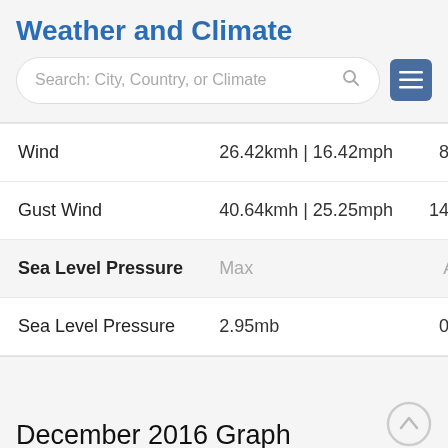Weather and Climate
Search: City, Country, or Climate
|  | Max | Ave |
| --- | --- | --- |
| Wind | 26.42kmh | 16.42mph | 8.75 |
| Gust Wind | 40.64kmh | 25.25mph | 14.55 |
| Sea Level Pressure | Max | Ave |
| Sea Level Pressure | 2.95mb | 0.17 |
December 2016 Graph